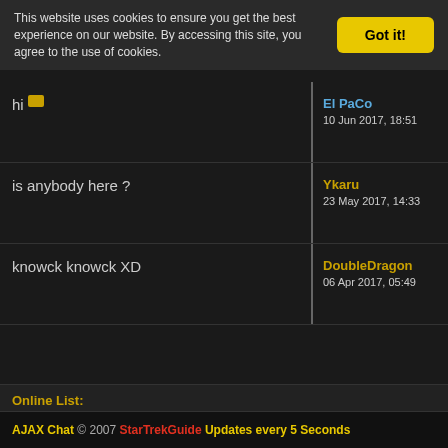This website uses cookies to ensure you get the best experience on our website. By accessing this site, you agree to the use of cookies.
Got it!
hi [emoji] — El PaCo — 10 Jun 2017, 18:51
is anybody here ? — Ykaru — 23 May 2017, 14:33
knowck knowck XD — DoubleDragon — 06 Apr 2017, 05:49
Online List:
AJAX Chat © 2007 StarTrekGuide Updates every 5 Seconds